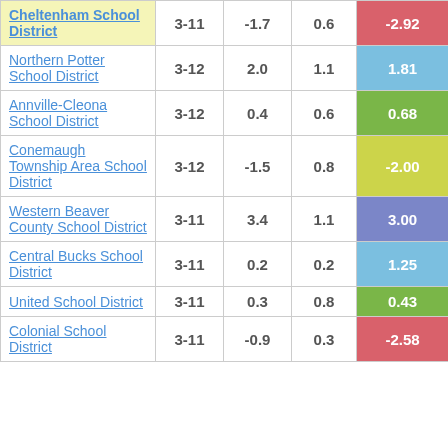| District | Grades | Col3 | Col4 | Score |
| --- | --- | --- | --- | --- |
| Cheltenham School District | 3-11 | -1.7 | 0.6 | -2.92 |
| Northern Potter School District | 3-12 | 2.0 | 1.1 | 1.81 |
| Annville-Cleona School District | 3-12 | 0.4 | 0.6 | 0.68 |
| Conemaugh Township Area School District | 3-12 | -1.5 | 0.8 | -2.00 |
| Western Beaver County School District | 3-11 | 3.4 | 1.1 | 3.00 |
| Central Bucks School District | 3-11 | 0.2 | 0.2 | 1.25 |
| United School District | 3-11 | 0.3 | 0.8 | 0.43 |
| Colonial School District | 3-11 | -0.9 | 0.3 | -2.58 |